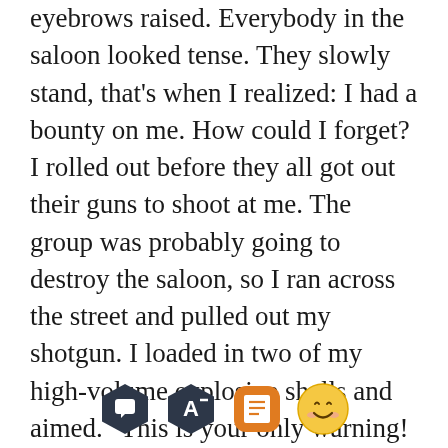eyebrows raised. Everybody in the saloon looked tense. They slowly stand, that's when I realized: I had a bounty on me. How could I forget? I rolled out before they all got out their guns to shoot at me. The group was probably going to destroy the saloon, so I ran across the street and pulled out my shotgun. I loaded in two of my high-volume explosive shells and aimed. "This is your only warning! I just want to deliver a package!" I yell out as the group went out. They were about twenty deep. "We're getting that 300,000 gold!" One of the patrons yelled back. The Cowboys
[Figure (other): App toolbar with four icons: chat bubble (dark hexagon), letter A with minus (dark hexagon), book/notepad (orange rounded square), and a smiling face emoji (yellow)]